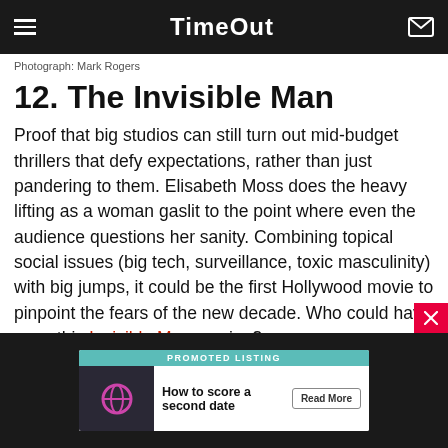Time Out
Photograph: Mark Rogers
12. The Invisible Man
Proof that big studios can still turn out mid-budget thrillers that defy expectations, rather than just pandering to them. Elisabeth Moss does the heavy lifting as a woman gaslit to the point where even the audience questions her sanity. Combining topical social issues (big tech, surveillance, toxic masculinity) with big jumps, it could be the first Hollywood movie to pinpoint the fears of the new decade. Who could have seen this Invisible Man coming?